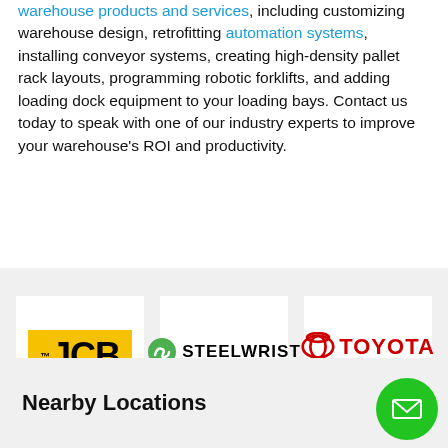warehouse products and services, including customizing warehouse design, retrofitting automation systems, installing conveyor systems, creating high-density pallet rack layouts, programming robotic forklifts, and adding loading dock equipment to your loading bays. Contact us today to speak with one of our industry experts to improve your warehouse's ROI and productivity.
[Figure (logo): JCB logo — yellow background with black bold JCB text]
[Figure (logo): Steelwrist logo — green circular icon with SW mark and STEELWRIST text]
[Figure (logo): Toyota Material Handling logo — red Toyota symbol with TOYOTA text and MATERIAL HANDLING red bar]
Nearby Locations